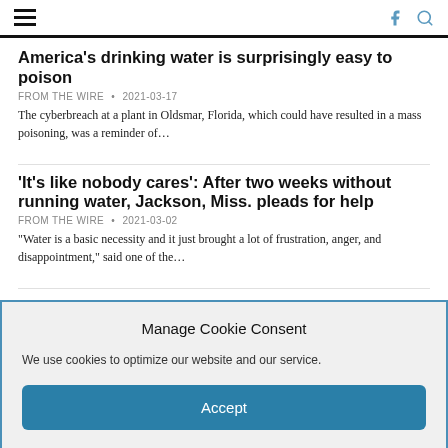Navigation header with hamburger menu, Facebook icon, and search icon
America's drinking water is surprisingly easy to poison
FROM THE WIRE  •  2021-03-17
The cyberbreach at a plant in Oldsmar, Florida, which could have resulted in a mass poisoning, was a reminder of…
'It's like nobody cares': After two weeks without running water, Jackson, Miss. pleads for help
FROM THE WIRE  •  2021-03-02
"Water is a basic necessity and it just brought a lot of frustration, anger, and disappointment," said one of the…
Getting the lead out
WADE RATHKE METEOR COLUMNIST  •  2020-09-29
Manage Cookie Consent
We use cookies to optimize our website and our service.
Accept